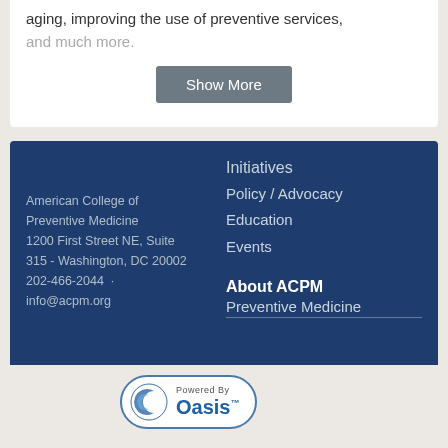aging, improving the use of preventive services,
and much more.
[Figure (screenshot): Show More button - gray rounded rectangle with white text]
Initiatives
Policy / Advocacy
Education
Events
About ACPM
Preventive Medicine
American College of Preventive Medicine
1200 First Street NE, Suite 315 - Washington, DC 20002
202-466-2044
info@acpm.org
[Figure (logo): Powered By Oasis logo badge with blue crescent icon]